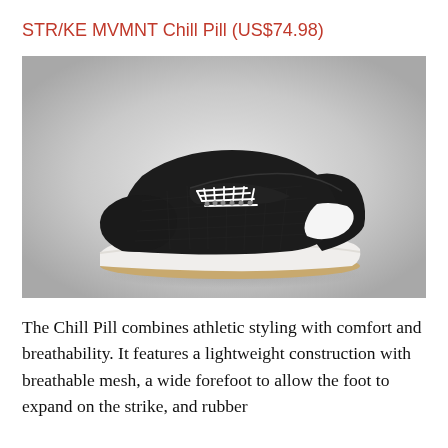STR/KE MVMNT Chill Pill (US$74.98)
[Figure (photo): Black mesh sneaker with white sole and tan outsole, lace-up style, angled side view on gradient gray background]
The Chill Pill combines athletic styling with comfort and breathability. It features a lightweight construction with breathable mesh, a wide forefoot to allow the foot to expand on the strike, and rubber